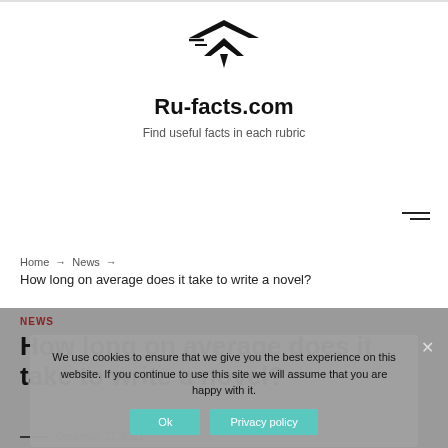[Figure (logo): Ru-facts.com logo: stylized arrow/chevron icon]
Ru-facts.com
Find useful facts in each rubric
Home → News → How long on average does it take to write a novel?
NEWS
How long on average does it take to write a novel?
We use cookies to ensure that we give you the best experience on this website. If you continue to use this site we will assume that you are happy with it.
Ok   Privacy policy
December 21, 2021